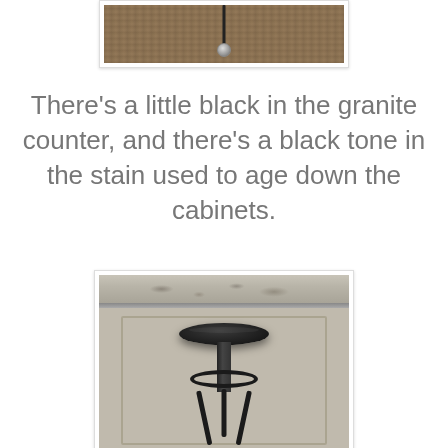[Figure (photo): Partial photo of a stool leg/base on a wood floor, cropped at top showing hardware detail]
There's a little black in the granite counter, and there's a black tone in the stain used to age down the cabinets.
[Figure (photo): Photo of a black metal adjustable bar stool in front of gray cabinet panels, with granite counter visible at top]